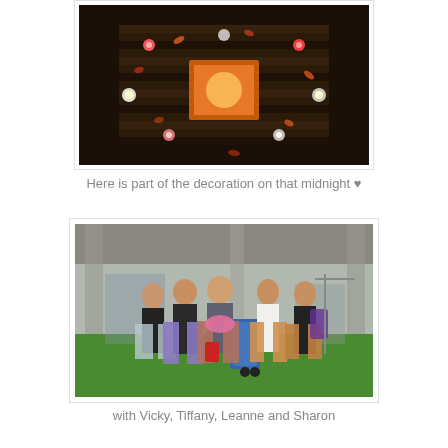[Figure (photo): Aerial/top-down view of a decorative table arrangement with striped pattern, glowing orange/warm light in center, candles and flower petals around it on a dark background]
Here is part of the decoration on that midnight ♥
[Figure (photo): Group photo of five young women standing outdoors on green artificial grass, with luggage and bags, under a covered structure]
with Vicky, Tiffany, Leanne and Sharon